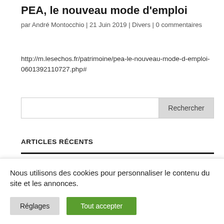PEA, le nouveau mode d'emploi
par André Montocchio | 21 Juin 2019 | Divers | 0 commentaires
http://m.lesechos.fr/patrimoine/pea-le-nouveau-mode-d-emploi-0601392110727.php#
ARTICLES RÉCENTS
Nous utilisons des cookies pour personnaliser le contenu du site et les annonces.
Réglages
Tout accepter